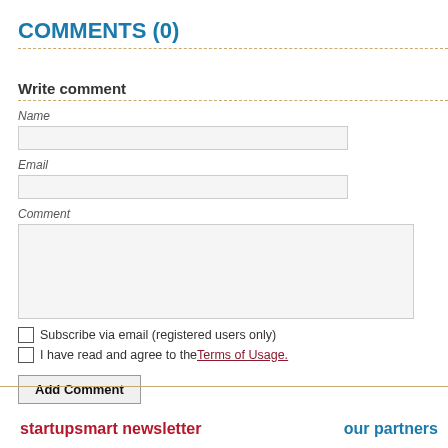COMMENTS (0)
Write comment
Name
Email
Comment
Subscribe via email (registered users only)
I have read and agree to the Terms of Usage.
Add Comment
startupsmart newsletter
our partners